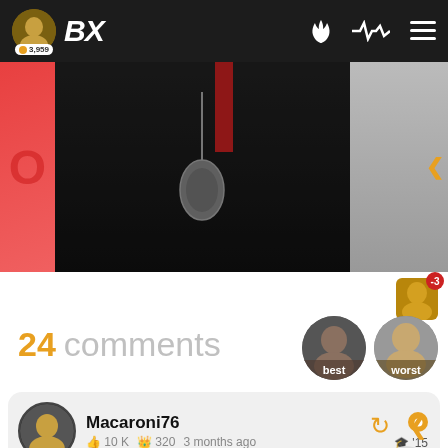BX | 3,959
[Figure (photo): Dark background image with jewelry/necklace pendant and red accent on left, with lighter image panel on the right]
24 comments
[Figure (photo): Best and worst sort button avatars]
Macaroni76
10 K  320  3 months ago  '15
Man it actually makes sense for the police to be on something like that. Pretty much cross country snitching lol